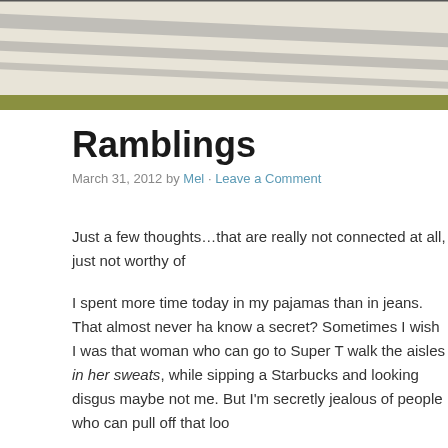[Figure (illustration): Blog header banner with diagonal gray streaks/lines on a cream/beige background, with an olive/sage green bar at the bottom]
Ramblings
March 31, 2012 by Mel · Leave a Comment
Just a few thoughts…that are really not connected at all, just not worthy of
I spent more time today in my pajamas than in jeans. That almost never ha know a secret? Sometimes I wish I was that woman who can go to Super T walk the aisles in her sweats, while sipping a Starbucks and looking disgus maybe not me. But I'm secretly jealous of people who can pull off that loo
Last night we had friends over for dinner, and they stayed to look at pics fr friends. 😉 (Gosh, that reminds me I need to post Morocco soon…tomorro time this month, and my husband seriously outdid himself. I don't know w good, but they were. SO. GOOD.
Anyway, I woke up this morning wanting a burger with pineapple and pro you need to try it. It's my favorite. 🙂 I promised myself that if I did three and eat one for breakfast.